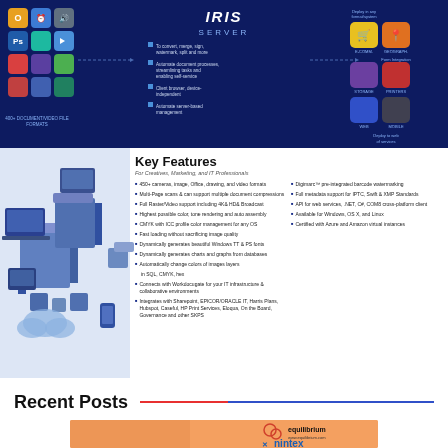[Figure (infographic): IRIS Server banner infographic on dark blue background showing app icons on left, IRIS SERVER logo in center with bullet point features, and integration icons on right]
[Figure (infographic): Key Features section for Creatives, Marketing, and IT Professionals with 3D isometric illustration of servers and technology on left, and two columns of feature bullet points on right]
Recent Posts
[Figure (photo): Partial preview image showing orange background with Equilibrium logo and Nintex branding]